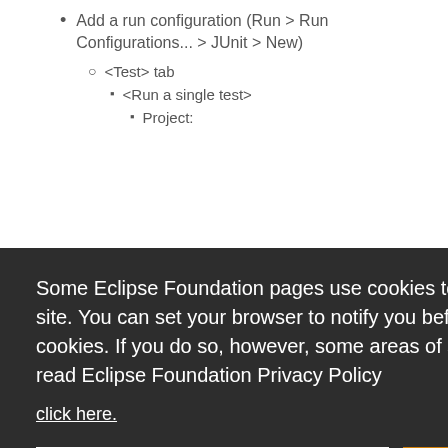Add a run configuration (Run > Run Configurations... > JUnit > New)
<Test> tab
<Run a single test>
Project:
[Figure (screenshot): Cookie consent overlay on Eclipse Foundation page with dark background, text about cookies, a 'click here' link, and two buttons: 'Decline' (white) and 'Allow cookies' (orange)]